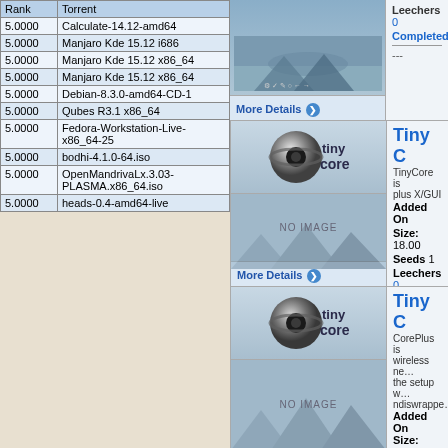| Rank | Torrent |
| --- | --- |
| 5.0000 | Calculate-14.12-amd64 |
| 5.0000 | Manjaro Kde 15.12 i686 |
| 5.0000 | Manjaro Kde 15.12 x86_64 |
| 5.0000 | Manjaro Kde 15.12 x86_64 |
| 5.0000 | Debian-8.3.0-amd64-CD-1 |
| 5.0000 | Qubes R3.1 x86_64 |
| 5.0000 | Fedora-Workstation-Live-x86_64-25 |
| 5.0000 | bodhi-4.1.0-64.iso |
| 5.0000 | OpenMandrivaLx.3.03-PLASMA.x86_64.iso |
| 5.0000 | heads-0.4-amd64-live |
[Figure (screenshot): Top partial card with landscape image and More Details button]
Leechers 0
Completed
---
[Figure (logo): Tiny Core logo - second card]
Tiny C - TinyCore is ... plus X/GUI
Added On
Size: 18.00
Seeds 1
Leechers 0
Completed
---
[Figure (logo): Tiny Core logo - third card]
Tiny C - CorePlus is ... wireless ne... the setup w... ndiswrappe...
Added On
Size: 221.0
Seeds 3
Leechers 0